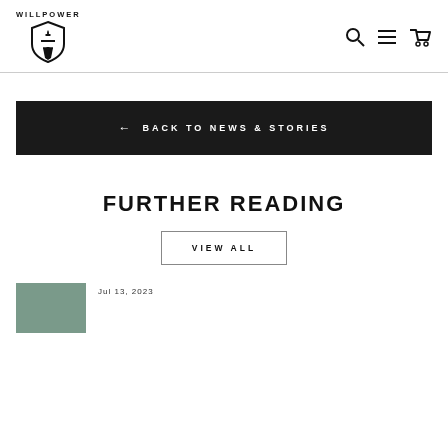WILLPOWER [logo with torch shield]
← BACK TO NEWS & STORIES
FURTHER READING
VIEW ALL
Jul 13, 2023